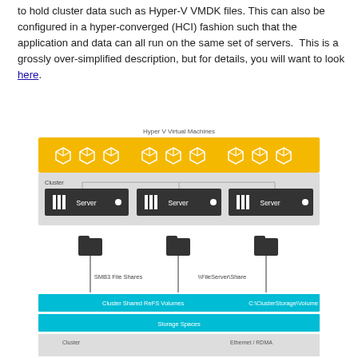to hold cluster data such as Hyper-V VMDK files. This can also be configured in a hyper-converged (HCI) fashion such that the application and data can all run on the same set of servers.  This is a grossly over-simplified description, but for details, you will want to look here.
[Figure (schematic): Hyper-V cluster architecture diagram showing: top label 'Hyper V Virtual Machines', yellow bar with 9 cube icons representing VMs, grey Cluster bar containing 3 dark Server nodes, three folder icons below connected by lines labeled 'SMB3 File Shares' and '\FileServer\Share', cyan bar for 'Cluster Shared ReFS Volumes' with 'C:\ClusterStorage\Volume', cyan 'Storage Spaces' bar, and a partially visible bottom bar.]